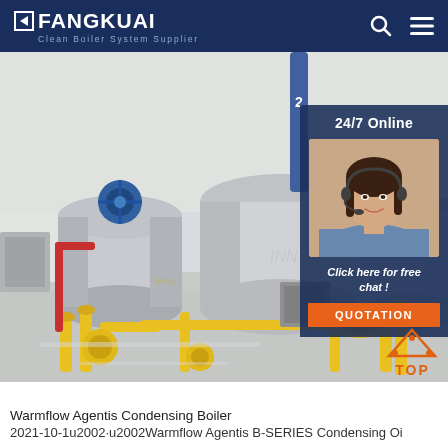FANGKUAI Clean Boiler System Supplier
[Figure (photo): Industrial boiler facility interior showing large cylindrical boiler tanks with yellow gas pipes, red pipes, and yellow valve fittings. Overhead view of a clean industrial installation with multiple boiler units on a polished floor. Number '2' visible on a blue pipe above.]
[Figure (photo): Customer service representative (woman with headset, smiling) with '24/7 Online' label and 'Click here for free chat!' text and QUOTATION button overlay on right side of hero image.]
[Figure (other): TOP navigation button with orange triangle/mountain icon and 'TOP' text in orange]
Warmflow Agentis Condensing Boiler
2021-10-1u2002·u2002Warmflow Agentis B-SERIES Condensing Oi